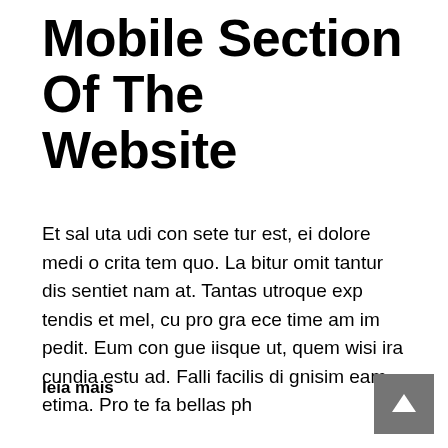Mobile Section Of The Website
Et sal uta udi con sete tur est, ei dolore medi o crita tem quo. La bitur omit tantur dis sentiet nam at. Tantas utroque exp tendis et mel, cu pro gra ece time am im pedit. Eum con gue iisque ut, quem wisi ira cundia estu ad. Falli facilis di gnisim eam etima. Pro te fa bellas ph
leia mais
[Figure (other): Gray square button with upward arrow icon for scrolling to top of page]